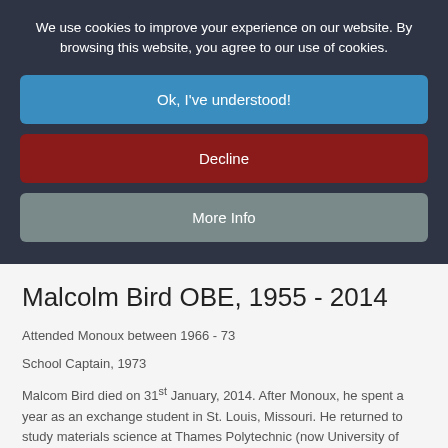We use cookies to improve your experience on our website. By browsing this website, you agree to our use of cookies.
Ok, I've understood!
Decline
More Info
Malcolm Bird OBE, 1955 - 2014
Attended Monoux between 1966 - 73
School Captain, 1973
Malcom Bird died on 31st January, 2014. After Monoux, he spent a year as an exchange student in St. Louis, Missouri. He returned to study materials science at Thames Polytechnic (now University of Greenwich) from 1974 - 78, where he gained his MSc. Later awarded DPhil(hc)